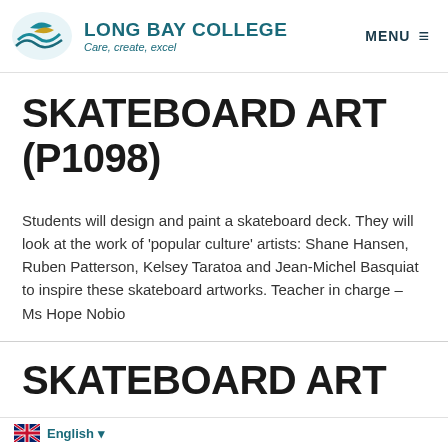LONG BAY COLLEGE — Care, create, excel — MENU
SKATEBOARD ART (P1098)
Students will design and paint a skateboard deck. They will look at the work of 'popular culture' artists: Shane Hansen, Ruben Patterson, Kelsey Taratoa and Jean-Michel Basquiat to inspire these skateboard artworks. Teacher in charge – Ms Hope Nobio
SKATEBOARD ART
English ▼